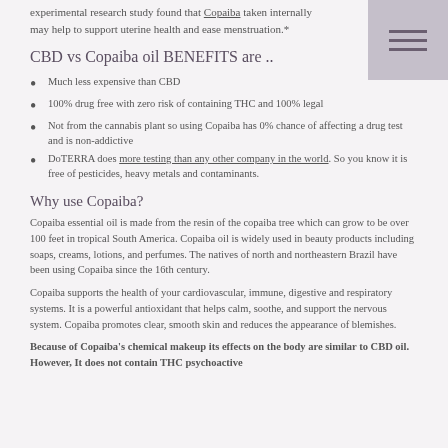experimental research study found that Copaiba taken internally may help to support uterine health and ease menstruation.*
CBD vs Copaiba oil BENEFITS are ..
Much less expensive than CBD
100% drug free with zero risk of containing THC and 100% legal
Not from the cannabis plant so using Copaiba has 0% chance of affecting a drug test and is non-addictive
DoTERRA does more testing than any other company in the world. So you know it is free of pesticides, heavy metals and contaminants.
Why use Copaiba?
Copaiba essential oil is made from the resin of the copaiba tree which can grow to be over 100 feet in tropical South America. Copaiba oil is widely used in beauty products including soaps, creams, lotions, and perfumes. The natives of north and northeastern Brazil have been using Copaiba since the 16th century.
Copaiba supports the health of your cardiovascular, immune, digestive and respiratory systems. It is a powerful antioxidant that helps calm, soothe, and support the nervous system. Copaiba promotes clear, smooth skin and reduces the appearance of blemishes.
Because of Copaiba’s chemical makeup its effects on the body are similar to CBD oil. However, It does not contain THC psychoactive